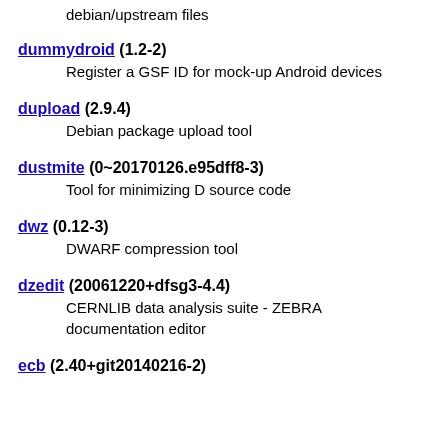debian/upstream files
dummydroid (1.2-2) — Register a GSF ID for mock-up Android devices
dupload (2.9.4) — Debian package upload tool
dustmite (0~20170126.e95dff8-3) — Tool for minimizing D source code
dwz (0.12-3) — DWARF compression tool
dzedit (20061220+dfsg3-4.4) — CERNLIB data analysis suite - ZEBRA documentation editor
ecb (2.40+git20140216-2)